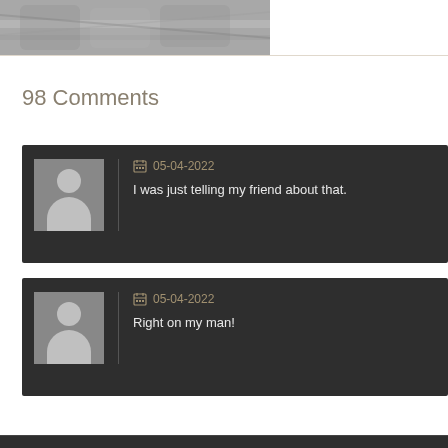[Figure (photo): Partial view of a close-up photo (grayscale/metallic texture), cropped at bottom of frame]
98 Comments
05-04-2022
I was just telling my friend about that.
05-04-2022
Right on my man!